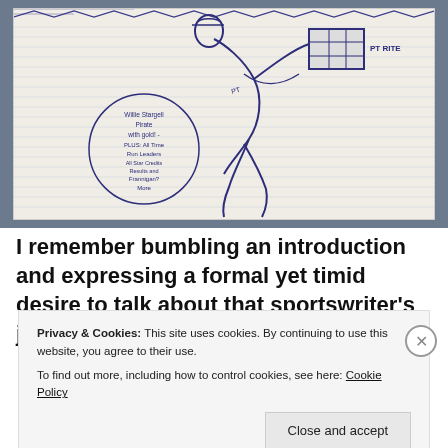[Figure (photo): A photograph of a hand-drawn sketch on lined notebook paper. The sketch depicts a baseball player (labeled 'PT RITE') in motion, carrying what appears to be a box or crate. A circular bubble contains handwritten text referencing 'Willie Stargell Pirate with gold! PLUS: All Time Run Leaders All Star Credits Results and Frannigan? More'.]
I remember bumbling an introduction and expressing a formal yet timid desire to talk about that sportswriter's job
Privacy & Cookies: This site uses cookies. By continuing to use this website, you agree to their use. To find out more, including how to control cookies, see here: Cookie Policy
Close and accept